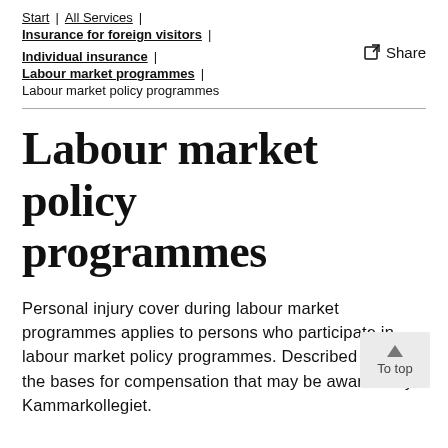Start | All Services | Insurance for foreign visitors | Individual insurance | Labour market programmes | Labour market policy programmes
Labour market policy programmes
Personal injury cover during labour market programmes applies to persons who participate in labour market policy programmes. Described here are the bases for compensation that may be awarded by Kammarkollegiet.